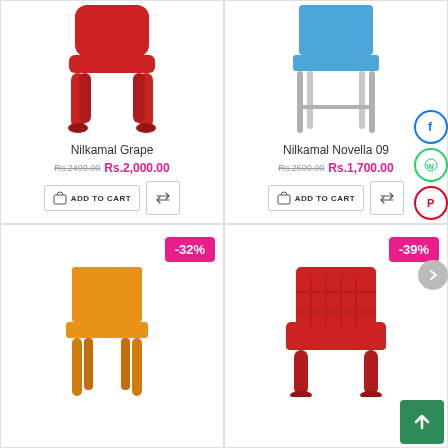[Figure (photo): Red plastic chair (Nilkamal Grape) product image, partially cropped at top]
Nilkamal Grape
Rs.2499.00 Rs.2,000.00
[Figure (photo): Blue plastic chair with metal legs (Nilkamal Novella 09), partially cropped at top]
Nilkamal Novella 09
Rs.2500.00 Rs.1,700.00
[Figure (photo): Orange plastic side chair with -32% discount badge]
[Figure (photo): Red plastic armchair with -39% discount badge]